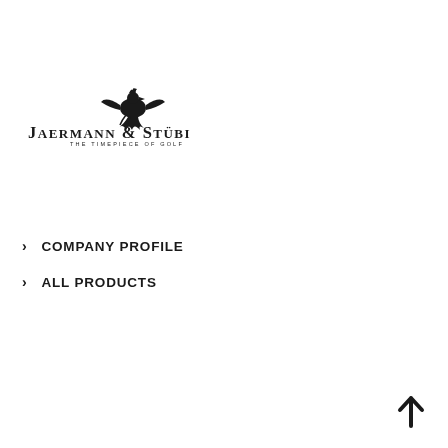[Figure (logo): Jaermann & Stübi logo with griffin/eagle heraldic figure above text reading JAERMANN & STÜBI and tagline THE TIMEPIECE OF GOLF]
> COMPANY PROFILE
> ALL PRODUCTS
[Figure (illustration): Back to top arrow chevron pointing upward, bottom right corner]